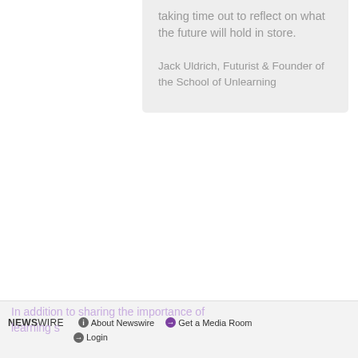taking time out to reflect on what the future will hold in store.
Jack Uldrich, Futurist & Founder of the School of Unlearning
In his keynote today, "Vuja De: A Backwards Walk into the World of Tomorrow," Uldrich will illustrate how reflecting on the past can inform better decisions about the future.
NEWSWIRE  About Newswire  Get a Media Room  Login
In addition to sharing the importance of learning some leadership examples